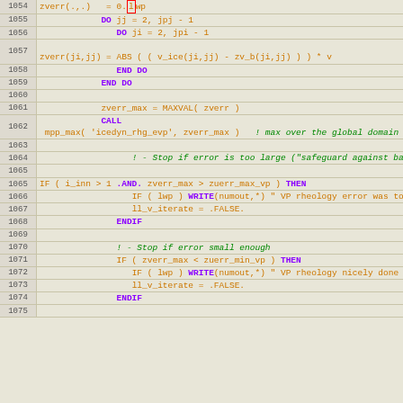[Figure (screenshot): Source code listing in Fortran-like language, lines 1054-1075, showing VP rheology error checking logic with colored syntax highlighting on beige background.]